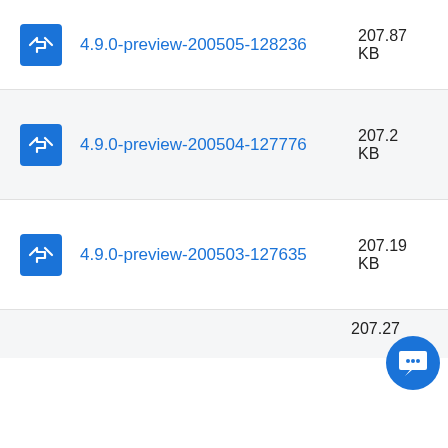4.9.0-preview-200505-128236 207.87 KB
4.9.0-preview-200504-127776 207.2 KB
4.9.0-preview-200503-127635 207.19 KB
207.27